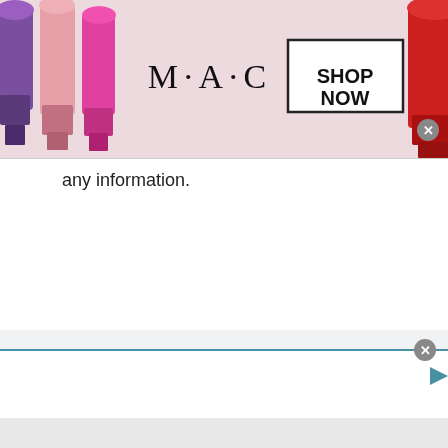[Figure (screenshot): MAC cosmetics advertisement banner with lipsticks on the left, MAC logo in center, and SHOP NOW button in a rectangle on the right with a close X button]
any information.
Leave a Comment
[Figure (screenshot): Bottom advertisement strip with a close X button and a play button icon, followed by a gray footer bar]